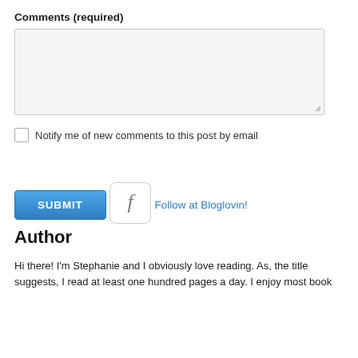Comments (required)
[Figure (other): Empty textarea input box with resize handle]
Notify me of new comments to this post by email
[Figure (other): Blue SUBMIT button]
[Figure (other): Facebook icon button with 'f' letter in a rounded square]
Follow at Bloglovin!
Author
Hi there! I'm Stephanie and I obviously love reading. As, the title suggests, I read at least one hundred pages a day. I enjoy most book